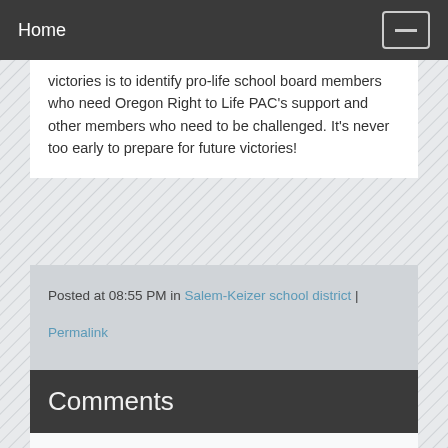Home
victories is to identify pro-life school board members who need Oregon Right to Life PAC's support and other members who need to be challenged. It's never too early to prepare for future victories!
Posted at 08:55 PM in Salem-Keizer school district | Permalink
Comments
You can follow this conversation by subscribing to the